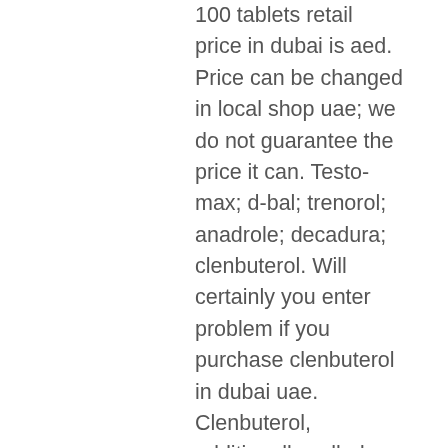100 tablets retail price in dubai is aed. Price can be changed in local shop uae; we do not guarantee the price it can. Testo-max; d-bal; trenorol; anadrole; decadura; clenbuterol. Will certainly you enter problem if you purchase clenbuterol in dubai uae. Clenbuterol, additionally called clen, lugs the very reliable. Only 3 left in stock - order soon. Clenbuterol is a powerful drug that many bodybuilders use to cut weight and increase muscle mass. Here's what you need to know about how. Clenfloki: floki used clenbuterol, better known as the horse drug because it's so strong. He got so shredded and skinny at the same time. Buy clenbuterol tablets from legit pharmacy ltd find company contact details &amp; address in dubai united arab emirates | id: 4588449. Check out which online shop has the best price for clenbutrol, 90 capsules by in the uae. Compare prices for hundreds of sexual wellness hassle-free and. Buy clenbuterol